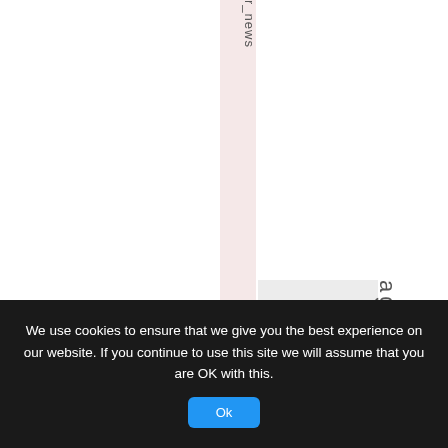[Figure (screenshot): A webpage with a pink vertical navigation strip containing rotated vertical text reading 'r_news' and below 'rMarch28th'. A gray rectangle placeholder image is visible. A vertical text element reads 'ageo'.]
We use cookies to ensure that we give you the best experience on our website. If you continue to use this site we will assume that you are OK with this.
Ok